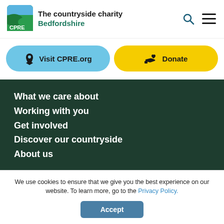[Figure (logo): CPRE logo with green square containing 'CPRE' text and countryside illustration]
The countryside charity Bedfordshire
Visit CPRE.org
Donate
What we care about
Working with you
Get involved
Discover our countryside
About us
Accessibility
Privacy policy
We use cookies to ensure that we give you the best experience on our website. To learn more, go to the Privacy Policy.
Accept